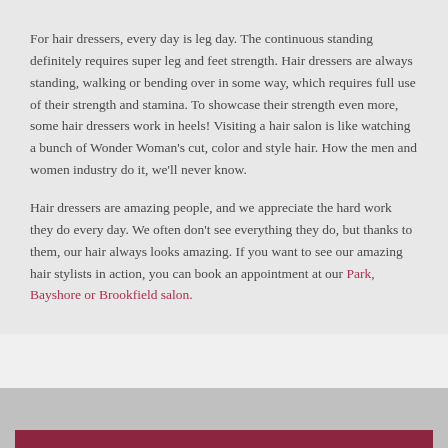For hair dressers, every day is leg day. The continuous standing definitely requires super leg and feet strength. Hair dressers are always standing, walking or bending over in some way, which requires full use of their strength and stamina. To showcase their strength even more, some hair dressers work in heels! Visiting a hair salon is like watching a bunch of Wonder Woman's cut, color and style hair. How the men and women industry do it, we'll never know.
Hair dressers are amazing people, and we appreciate the hard work they do every day. We often don't see everything they do, but thanks to them, our hair always looks amazing. If you want to see our amazing hair stylists in action, you can book an appointment at our Park, Bayshore or Brookfield salon.